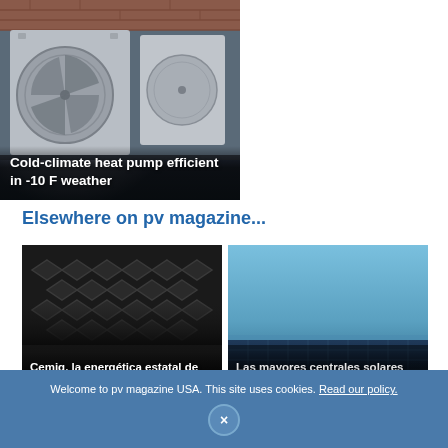[Figure (photo): Outdoor heat pump units mounted against a brick wall]
Cold-climate heat pump efficient in -10 F weather
Elsewhere on pv magazine...
[Figure (photo): Manhole cover with diamond pattern — Cemig energy story]
Cemig, la energética estatal de Minas Gerais, en Brasil, instalará 155 MW fotovoltaicos
[Figure (photo): Aerial view of a large solar park — Villanueva, Mexico]
Las mayores centrales solares del mundo. 14: parque Villanueva (México)
Welcome to pv magazine USA. This site uses cookies. Read our policy.